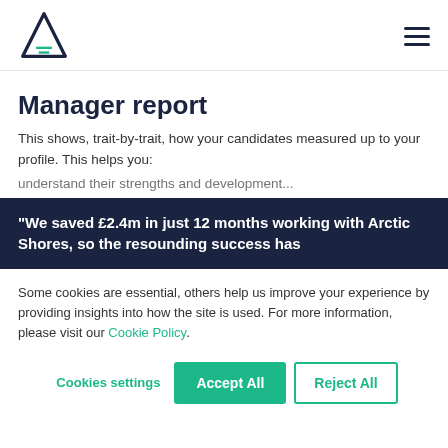[Figure (logo): Arctic Shores triangle/mountain logo in dark navy blue outline]
Manager report
This shows, trait-by-trait, how your candidates measured up to your profile. This helps you:
understand their strengths and development...
“We saved £2.4m in just 12 months working with Arctic Shores, so the resounding success has
Some cookies are essential, others help us improve your experience by providing insights into how the site is used. For more information, please visit our Cookie Policy.
Cookies settings | Accept All | Reject All